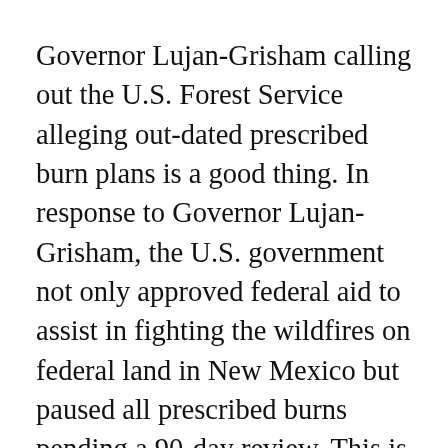Governor Lujan-Grisham calling out the U.S. Forest Service alleging out-dated prescribed burn plans is a good thing. In response to Governor Lujan-Grisham, the U.S. government not only approved federal aid to assist in fighting the wildfires on federal land in New Mexico but paused all prescribed burns pending a 90-day review. This is exactly the purpose of a free press, the bully pulpit, using influence in public spaces of discourse to apply rhetorical pressure on greater organizations.
It is important that the public (meaning all